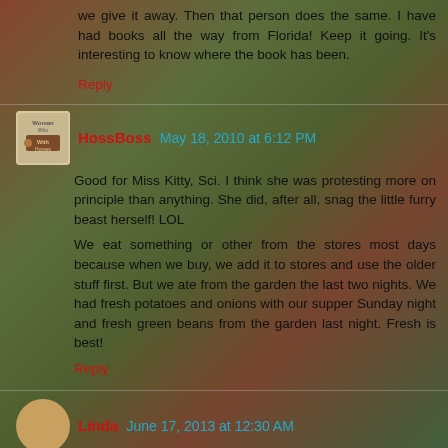we give it away. Then that person does the same. I have had books all the way from Florida! Keep it going. It's interesting to know where the book has been.
Reply
HossBoss May 18, 2010 at 6:12 PM
Good for Miss Kitty, Sci. I think she was protesting more on principle than anything. She did, after all, snag the little furry beast herself! LOL
We eat something or other from the stores most days because when we buy, we add it to stores and use the older stuff first. But we ate from the garden the last two nights. We had fresh potatoes and onions with our supper Sunday night and fresh green beans from the garden last night. Fresh is best!
Reply
Linda June 17, 2013 at 12:30 AM